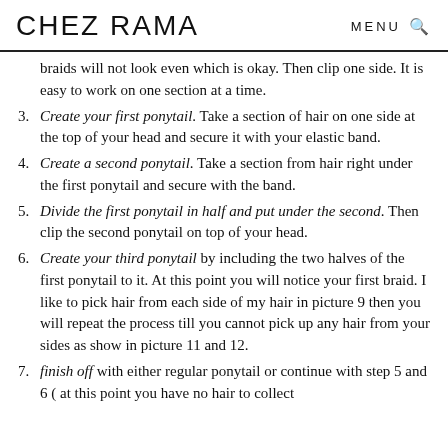CHEZ RAMA   MENU 🔍
braids will not look even which is okay. Then clip one side. It is easy to work on one section at a time.
3. Create your first ponytail. Take a section of hair on one side at the top of your head and secure it with your elastic band.
4. Create a second ponytail. Take a section from hair right under the first ponytail and secure with the band.
5. Divide the first ponytail in half and put under the second. Then clip the second ponytail on top of your head.
6. Create your third ponytail by including the two halves of the first ponytail to it. At this point you will notice your first braid. I like to pick hair from each side of my hair in picture 9 then you will repeat the process till you cannot pick up any hair from your sides as show in picture 11 and 12.
7. finish off with either regular ponytail or continue with step 5 and 6 ( at this point you have no hair to collect